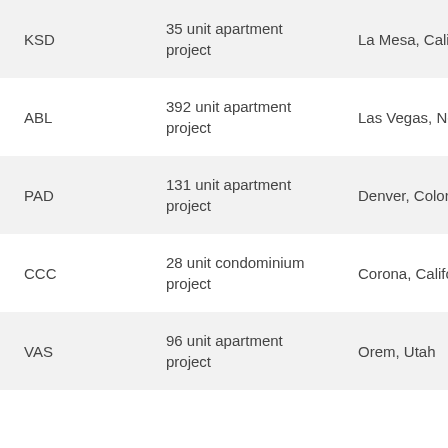| Name | Description | Location |  |
| --- | --- | --- | --- |
| KSD | 35 unit apartment project | La Mesa, California |  |
| ABL | 392 unit apartment project | Las Vegas, Nevada | 2 |
| PAD | 131 unit apartment project | Denver, Colorado |  |
| CCC | 28 unit condominium project | Corona, California |  |
| VAS | 96 unit apartment project | Orem, Utah |  |